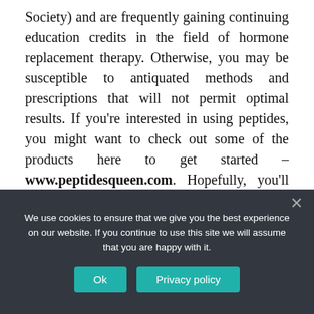Society) and are frequently gaining continuing education credits in the field of hormone replacement therapy. Otherwise, you may be susceptible to antiquated methods and prescriptions that will not permit optimal results. If you're interested in using peptides, you might want to check out some of the products here to get started – www.peptidesqueen.com. Hopefully, you'll experience positive effects to your health shortly after trying them.
We use cookies to ensure that we give you the best experience on our website. If you continue to use this site we will assume that you are happy with it.